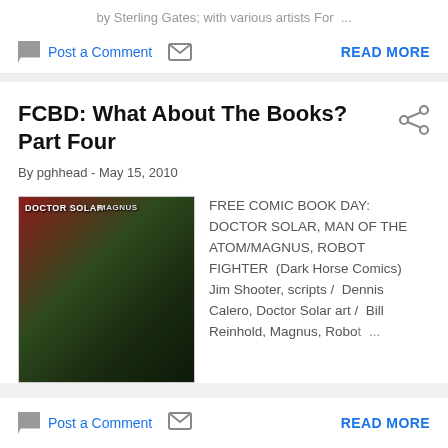by Sterling Gates; with various artists For ...
Post a Comment  READ MORE
FCBD: What About The Books? Part Four
By pghhead - May 15, 2010
[Figure (photo): Comic book cover of Doctor Solar Magnus]
FREE COMIC BOOK DAY: DOCTOR SOLAR, MAN OF THE ATOM/MAGNUS, ROBOT FIGHTER (Dark Horse Comics) Jim Shooter, scripts / Dennis Calero, Doctor Solar art / Bill Reinhold, Magnus, Robot ...
Post a Comment  READ MORE